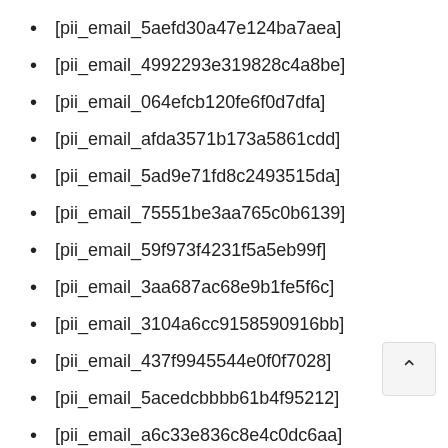[pii_email_5aefd30a47e124ba7aea]
[pii_email_4992293e319828c4a8be]
[pii_email_064efcb120fe6f0d7dfa]
[pii_email_afda3571b173a5861cdd]
[pii_email_5ad9e71fd8c2493515da]
[pii_email_75551be3aa765c0b6139]
[pii_email_59f973f4231f5a5eb99f]
[pii_email_3aa687ac68e9b1fe5f6c]
[pii_email_3104a6cc9158590916bb]
[pii_email_437f9945544e0f0f7028]
[pii_email_5acedcbbbb61b4f95212]
[pii_email_a6c33e836c8e4c0dc6aa]
[pii_email_09b26e2744e0cea6e5ad]
[pii_email_245b0c3d7279080caff4]
[pii_email_422972f2054e7c774737]